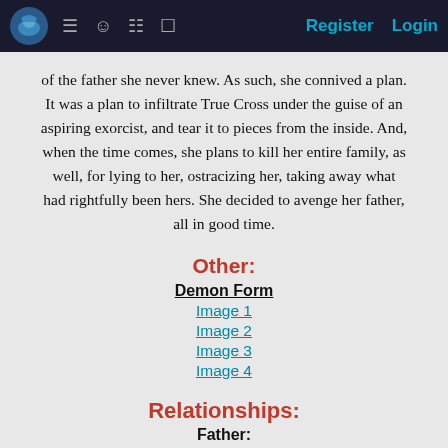Register  Login
of the father she never knew. As such, she connived a plan. It was a plan to infiltrate True Cross under the guise of an aspiring exorcist, and tear it to pieces from the inside. And, when the time comes, she plans to kill her entire family, as well, for lying to her, ostracizing her, taking away what had rightfully been hers. She decided to avenge her father, all in good time.
Other:
Demon Form
Image 1
Image 2
Image 3
Image 4
Relationships:
Father:
NAME UNKNOWN
Human Form
Demon Form
Age: UNKNOWN
-Demon-
DECEASED